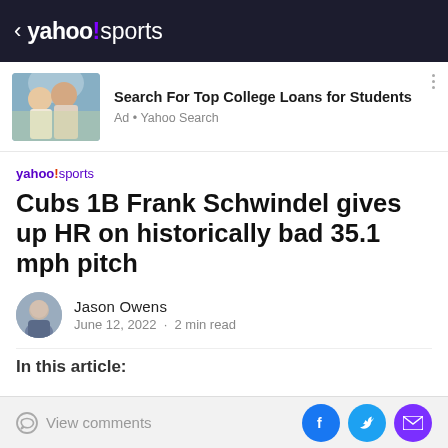< yahoo!sports
[Figure (screenshot): Advertisement banner: photo of two young women laughing outdoors with text 'Search For Top College Loans for Students' and 'Ad • Yahoo Search']
Cubs 1B Frank Schwindel gives up HR on historically bad 35.1 mph pitch
Jason Owens
June 12, 2022 · 2 min read
In this article:
View comments